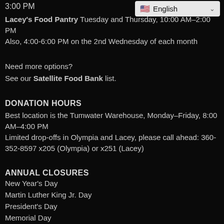3:00 PM
English (language selector)
Lacey's Food Pantry Tuesday and Thursday, 10:00 AM–2:00 PM Also, 4:00-6:00 PM on the 2nd Wednesday of each month
Need more options?
See our Satellite Food Bank list.
DONATION HOURS
Best location is the Tumwater Warehouse, Monday–Friday, 8:00 AM–4:00 PM
Limited drop-offs in Olympia and Lacey, please call ahead: 360-352-8597 x205 (Olympia) or x251 (Lacey)
ANNUAL CLOSURES
New Year's Day
Martin Luther King Jr. Day
President's Day
Memorial Day
Juneteenth